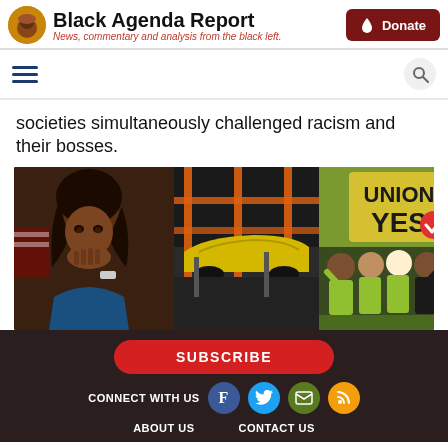Black Agenda Report — News, commentary and analysis from the black left.
societies simultaneously challenged racism and their bosses.
[Figure (photo): Composite photo: a Black woman looking distressed with hand raised to face (left), an automotive factory assembly line with orange scaffolding and yellow car (center), and a group of workers in green vests holding 'UNION YES' signs with a checkmark (right).]
SUBSCRIBE | CONNECT WITH US | ABOUT US | CONTACT US